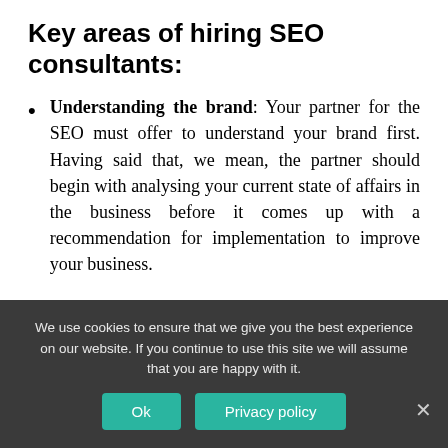Key areas of hiring SEO consultants:
Understanding the brand: Your partner for the SEO must offer to understand your brand first. Having said that, we mean, the partner should begin with analysing your current state of affairs in the business before it comes up with a recommendation for implementation to improve your business.
Sarcastically, some SEO consultants recommend a plan of action without an in-depth understanding of the core business values and the constraint therein at the
We use cookies to ensure that we give you the best experience on our website. If you continue to use this site we will assume that you are happy with it.